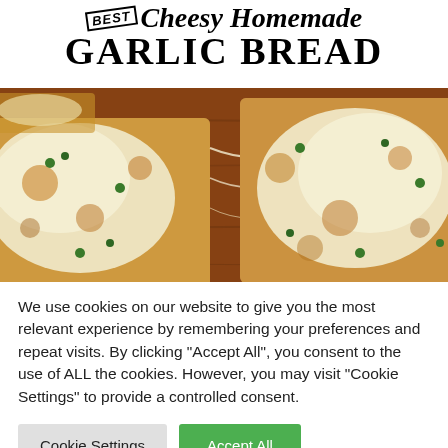BEST Cheesy Homemade GARLIC BREAD
[Figure (photo): Close-up photo of cheesy homemade garlic bread slices on a wooden board, topped with melted mozzarella cheese and fresh herbs (parsley), golden brown and bubbly.]
We use cookies on our website to give you the most relevant experience by remembering your preferences and repeat visits. By clicking "Accept All", you consent to the use of ALL the cookies. However, you may visit "Cookie Settings" to provide a controlled consent.
Cookie Settings  Accept All